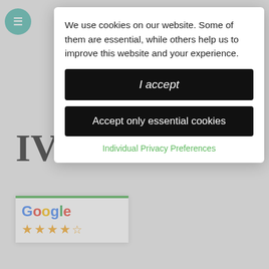We use cookies on our website. Some of them are essential, while others help us to improve this website and your experience.
I accept
Accept only essential cookies
Individual Privacy Preferences
IV
22
Our practice is very patient focused and so we offer IV sedation to help eliminate anxiety and stress for those patients that feel this way. This allows the patient to overcome their fears of having any dental treatment carried out at the
[Figure (logo): Google logo with 4 orange stars and 1 half star rating widget]
s intravenous sedation (injection) that is used to effectively treat the most nervous of